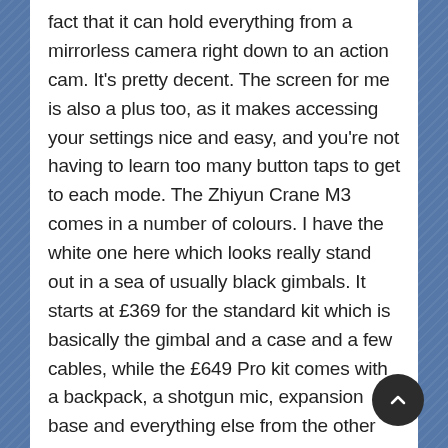fact that it can hold everything from a mirrorless camera right down to an action cam. It's pretty decent. The screen for me is also a plus too, as it makes accessing your settings nice and easy, and you're not having to learn too many button taps to get to each mode. The Zhiyun Crane M3 comes in a number of colours. I have the white one here which looks really stand out in a sea of usually black gimbals. It starts at £369 for the standard kit which is basically the gimbal and a case and a few cables, while the £649 Pro kit comes with a backpack, a shotgun mic, expansion base and everything else from the other kits. It's a great gimbal for sure, as long as you can get over the initial balancing issues. You can find more information on the Zhiyun website.